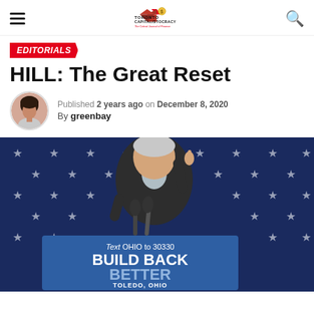Toronto Capitalistocracy — navigation header with hamburger menu, logo, and search icon
EDITORIALS
HILL: The Great Reset
Published 2 years ago on December 8, 2020
By greenbay
[Figure (photo): A man in a dark suit gestures with his index finger raised at a podium reading 'Text OHIO to 30330 BUILD BACK BETTER TOLEDO, OHIO' with an American flag backdrop]